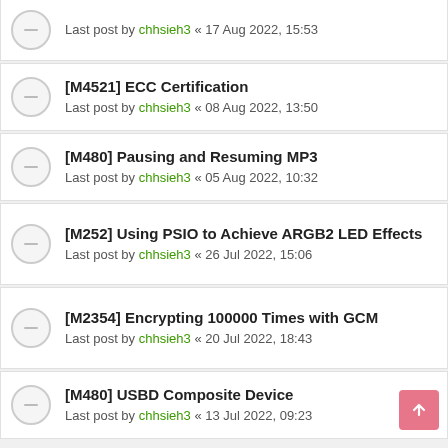Last post by chhsieh3 « 17 Aug 2022, 15:53
[M4521] ECC Certification
Last post by chhsieh3 « 08 Aug 2022, 13:50
[M480] Pausing and Resuming MP3
Last post by chhsieh3 « 05 Aug 2022, 10:32
[M252] Using PSIO to Achieve ARGB2 LED Effects
Last post by chhsieh3 « 26 Jul 2022, 15:06
[M2354] Encrypting 100000 Times with GCM
Last post by chhsieh3 « 20 Jul 2022, 18:43
[M480] USBD Composite Device
Last post by chhsieh3 « 13 Jul 2022, 09:23